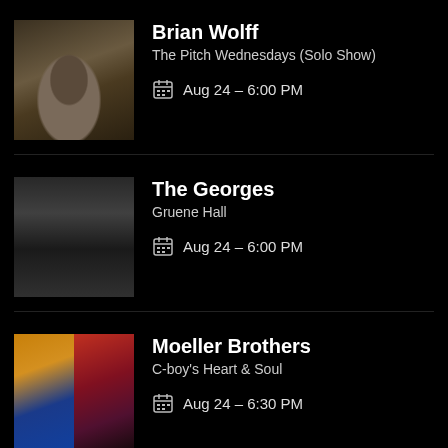[Figure (photo): Photo of Brian Wolff playing acoustic guitar in a bar/venue setting, wearing a hat]
Brian Wolff
The Pitch Wednesdays (Solo Show)
Aug 24 - 6:00 PM
[Figure (photo): Black and white photo of The Georges performing on stage at a venue]
The Georges
Gruene Hall
Aug 24 - 6:00 PM
[Figure (photo): Two-panel photo for Moeller Brothers: left panel shows person with yellow/blue tones, right panel shows person with red/dark tones]
Moeller Brothers
C-boy's Heart & Soul
Aug 24 - 6:30 PM